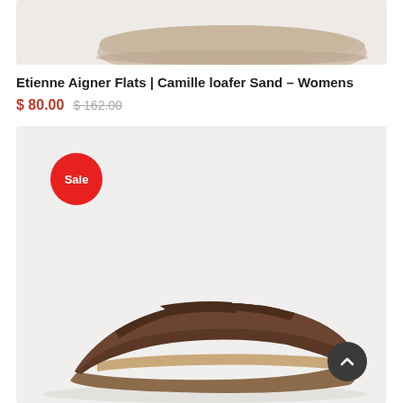[Figure (photo): Top portion of a beige/sand colored women's flat loafer shoe on a light gray background, cropped showing just the toe and side profile]
Etienne Aigner Flats | Camille loafer Sand – Womens
$ 80.00  $ 162.00
[Figure (photo): Brown suede women's loafer flat shoe on a light gray background with a red 'Sale' badge in the upper left and a dark back-to-top arrow button in the lower right]